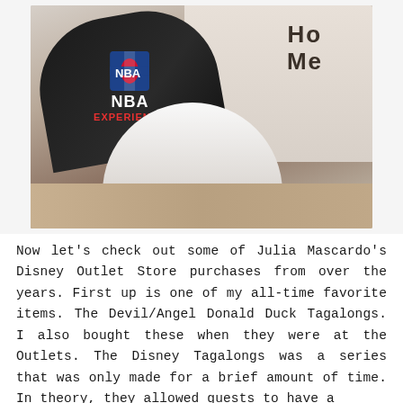[Figure (photo): A white fluffy dog with an NBA Experience black snapback cap held above its head, indoors with a 'HOME' wooden letter decoration on the wall in the background and wooden furniture visible.]
Now let’s check out some of Julia Mascardo’s Disney Outlet Store purchases from over the years. First up is one of my all-time favorite items. The Devil/Angel Donald Duck Tagalongs. I also bought these when they were at the Outlets. The Disney Tagalongs was a series that was only made for a brief amount of time. In theory, they allowed guests to have a